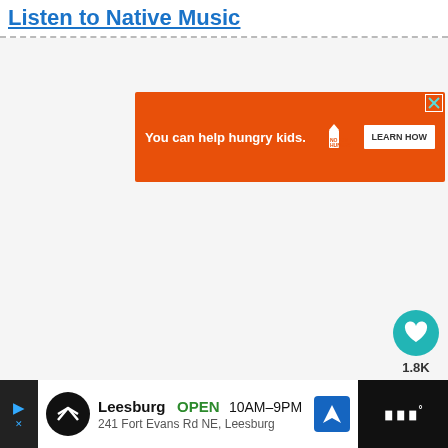Listen to Native Music
[Figure (screenshot): Orange advertisement banner: 'You can help hungry kids. NO KID HUNGRY LEARN HOW' with close (X) button]
[Figure (screenshot): Like/heart button (teal circle) with count 1.8K and share button below]
[Figure (screenshot): WHAT'S NEXT panel showing thumbnail and text 'Pow Wow Calendar...']
[Figure (screenshot): Bottom ad bar: Leesburg OPEN 10AM-9PM, 241 Fort Evans Rd NE, Leesburg with navigation icon, and dark right section with WW logo]